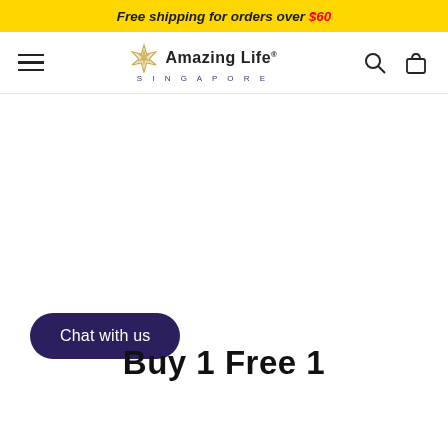Free shipping for orders over $60
[Figure (logo): Amazing Life Singapore logo with star icon and navigation bar including hamburger menu, search icon, and cart icon]
Chat with us
Buy 1 Free 1